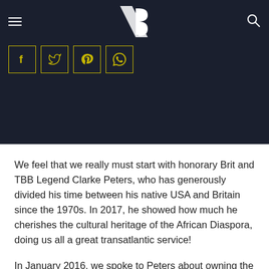[Figure (screenshot): Dark navy website header with hamburger menu icon on left, logo (stylized letters with diagonal design) in center, search icon on right, and four social media share buttons (Facebook, Twitter, Pinterest, WhatsApp) with yellow borders below.]
We feel that we really must start with honorary Brit and TBB Legend Clarke Peters, who has generously divided his time between his native USA and Britain since the 1970s. In 2017, he showed how much he cherishes the cultural heritage of the African Diaspora, doing us all a great transatlantic service!
In January 2016, we spoke to Peters about owning the